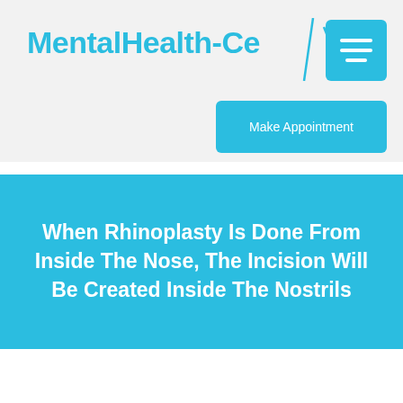MentalHealth-Ce
Make Appointment
When Rhinoplasty Is Done From Inside The Nose, The Incision Will Be Created Inside The Nostrils